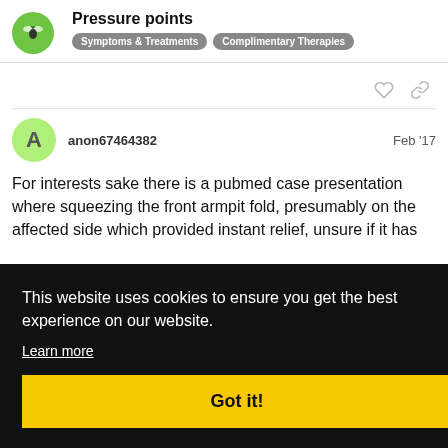Pressure points | Symptoms & Treatments | Complimentary Therapies
anon67464382  Feb '17
For interests sake there is a pubmed case presentation where squeezing the front armpit fold, presumably on the affected side which provided instant relief, unsure if it has
Mar '17
n with
[Figure (screenshot): Cookie consent banner overlay: black background with text 'This website uses cookies to ensure you get the best experience on our website.' with 'Learn more' underlined link and yellow 'Got it!' button]